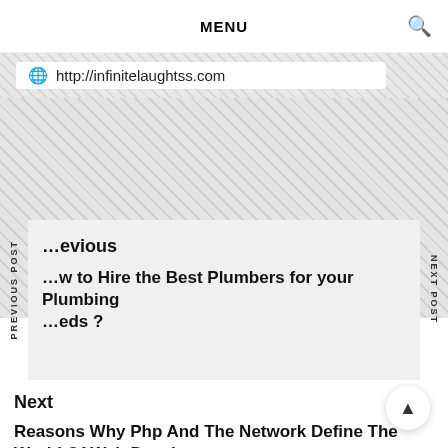MENU
http://infinitelaughtss.com
Previous
How to Hire the Best Plumbers for your Plumbing Needs ?
Next
Reasons Why Php And The Network Define The World Of Web Development